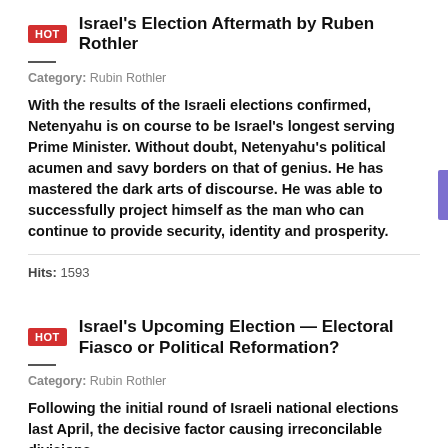HOT  Israel's Election Aftermath by Ruben Rothler
Category: Rubin Rothler
With the results of the Israeli elections confirmed, Netenyahu is on course to be Israel's longest serving Prime Minister. Without doubt, Netenyahu's political acumen and savy borders on that of genius. He has mastered the dark arts of discourse. He was able to successfully project himself as the man who can continue to provide security, identity and prosperity.
Hits: 1593
HOT  Israel's Upcoming Election — Electoral Fiasco or Political Reformation?
Category: Rubin Rothler
Following the initial round of Israeli national elections last April, the decisive factor causing irreconcilable divisions